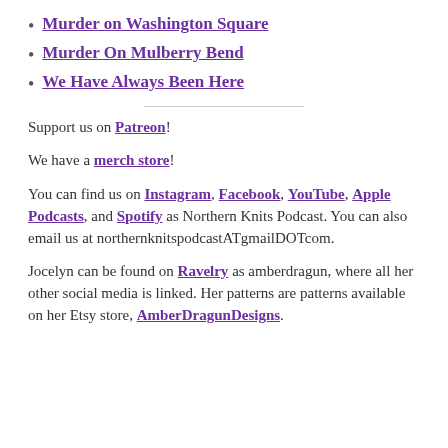Murder on Washington Square
Murder On Mulberry Bend
We Have Always Been Here
Support us on Patreon!
We have a merch store!
You can find us on Instagram, Facebook, YouTube, Apple Podcasts, and Spotify as Northern Knits Podcast. You can also email us at northernknitspodcastATgmailDOTcom.
Jocelyn can be found on Ravelry as amberdragun, where all her other social media is linked. Her patterns are patterns available on her Etsy store, AmberDragunDesigns.